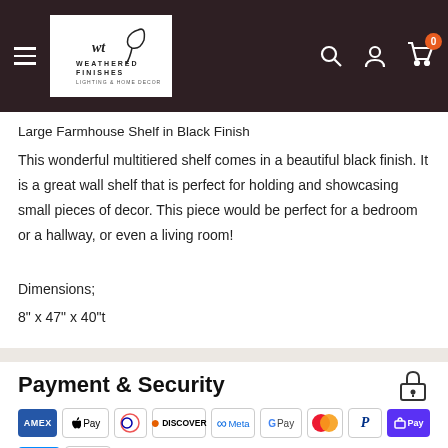Weathered Finishes — navigation header with logo, search, account, cart icons
Large Farmhouse Shelf in Black Finish
This wonderful multitiered shelf comes in a beautiful black finish. It is a great wall shelf that is perfect for holding and showcasing small pieces of decor. This piece would be perfect for a bedroom or a hallway, or even a living room!
Dimensions;
8" x 47" x 40"t
Payment & Security
[Figure (infographic): Payment method logos: AMEX, Apple Pay, Diners Club, Discover, Meta Pay, Google Pay, Mastercard, PayPal, Shop Pay, Venmo, Visa]